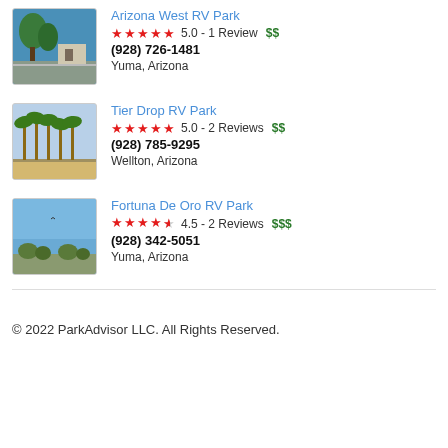[Figure (photo): Photo of Arizona West RV Park showing trees and a road]
Arizona West RV Park
5.0 - 1 Review $$
(928) 726-1481
Yuma, Arizona
[Figure (photo): Photo of Tier Drop RV Park showing palm trees and a pathway]
Tier Drop RV Park
5.0 - 2 Reviews $$
(928) 785-9295
Wellton, Arizona
[Figure (photo): Photo of Fortuna De Oro RV Park showing blue sky and trees]
Fortuna De Oro RV Park
4.5 - 2 Reviews $$$
(928) 342-5051
Yuma, Arizona
© 2022 ParkAdvisor LLC. All Rights Reserved.